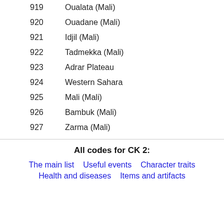919   Oualata (Mali)
920   Ouadane (Mali)
921   Idjil (Mali)
922   Tadmekka (Mali)
923   Adrar Plateau
924   Western Sahara
925   Mali (Mali)
926   Bambuk (Mali)
927   Zarma (Mali)
All codes for CK 2:
The main list   Useful events   Character traits   Health and diseases   Items and artifacts